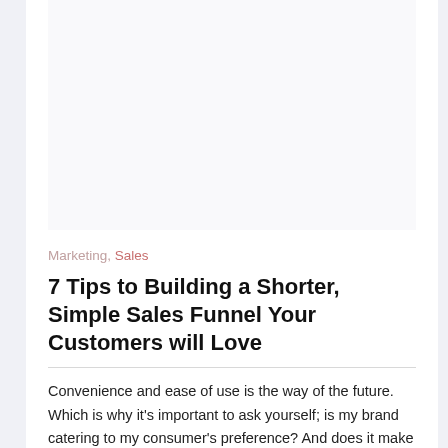[Figure (other): Top image area (blank/white placeholder image region)]
Marketing, Sales
7 Tips to Building a Shorter, Simple Sales Funnel Your Customers will Love
Convenience and ease of use is the way of the future. Which is why it's important to ask yourself; is my brand catering to my consumer's preference? And does it make buying a straightforward, painless process?The answer to these questions exists inside your sales funnels.